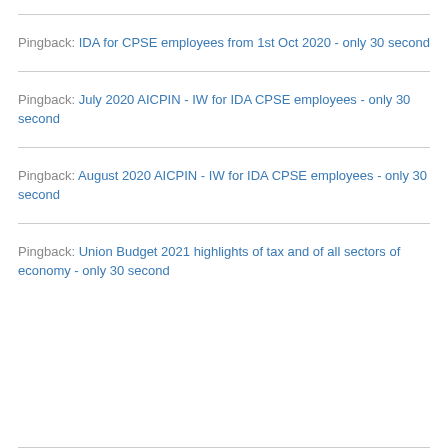Pingback: IDA for CPSE employees from 1st Oct 2020 - only 30 second
Pingback: July 2020 AICPIN - IW for IDA CPSE employees - only 30 second
Pingback: August 2020 AICPIN - IW for IDA CPSE employees - only 30 second
Pingback: Union Budget 2021 highlights of tax and of all sectors of economy - only 30 second